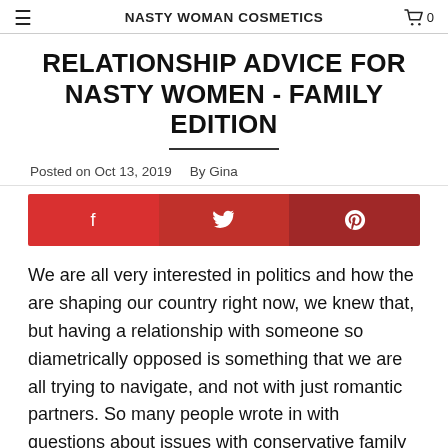NASTY WOMAN COSMETICS
RELATIONSHIP ADVICE FOR NASTY WOMEN - FAMILY EDITION
Posted on Oct 13, 2019  By Gina
[Figure (infographic): Social share buttons: Facebook (red), Twitter (medium red), Pinterest (dark red)]
We are all very interested in politics and how the are shaping our country right now, we knew that, but having a relationship with someone so diametrically opposed is something that we are all trying to navigate, and not with just romantic partners.  So many people wrote in with questions about issues with conservative family